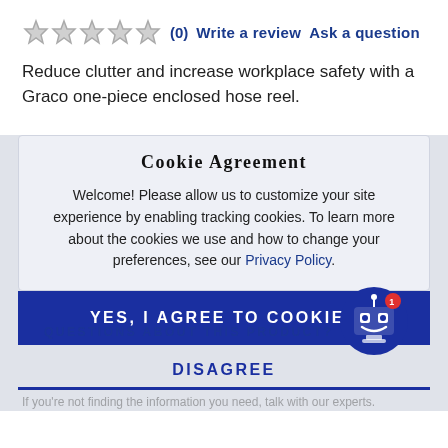[Figure (other): Five empty gray star rating icons]
(0)  Write a review  Ask a question
Reduce clutter and increase workplace safety with a Graco one-piece enclosed hose reel.
Cookie Agreement
Welcome! Please allow us to customize your site experience by enabling tracking cookies. To learn more about the cookies we use and how to change your preferences, see our Privacy Policy.
YES, I AGREE TO COOKIES
DISAGREE